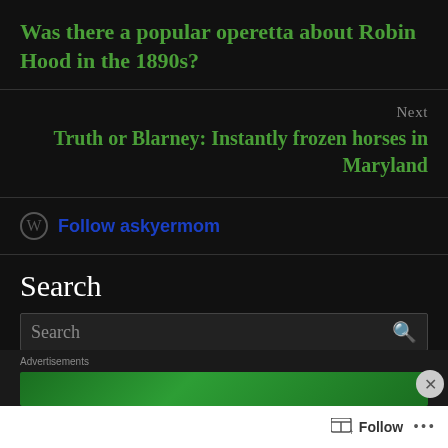Was there a popular operetta about Robin Hood in the 1890s?
Next
Truth or Blarney: Instantly frozen horses in Maryland
Follow askyermom
Search
Search
Advertisements
Follow ...